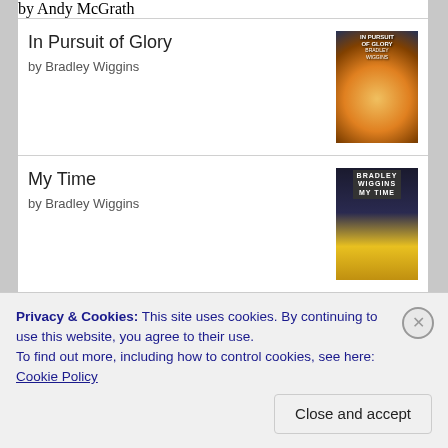by Andy McGrath
In Pursuit of Glory by Bradley Wiggins
My Time by Bradley Wiggins
Domestique: The Real-life Ups and Downs of a Tour Pro by Charly Wegelius
[Figure (logo): goodreads logo in a rounded rectangle]
Privacy & Cookies: This site uses cookies. By continuing to use this website, you agree to their use. To find out more, including how to control cookies, see here: Cookie Policy
Close and accept